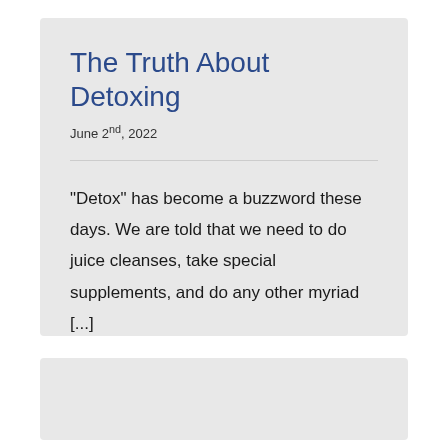The Truth About Detoxing
June 2nd, 2022
“Detox” has become a buzzword these days. We are told that we need to do juice cleanses, take special supplements, and do any other myriad [...]